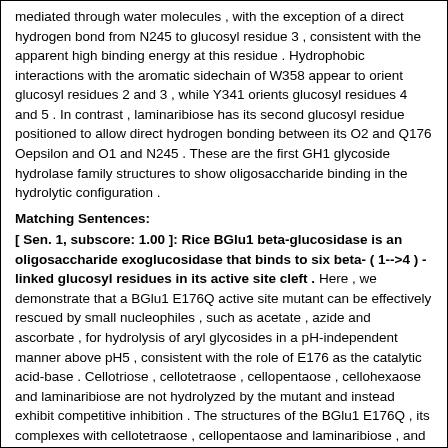mediated through water molecules , with the exception of a direct hydrogen bond from N245 to glucosyl residue 3 , consistent with the apparent high binding energy at this residue . Hydrophobic interactions with the aromatic sidechain of W358 appear to orient glucosyl residues 2 and 3 , while Y341 orients glucosyl residues 4 and 5 . In contrast , laminaribiose has its second glucosyl residue positioned to allow direct hydrogen bonding between its O2 and Q176 Oepsilon and O1 and N245 . These are the first GH1 glycoside hydrolase family structures to show oligosaccharide binding in the hydrolytic configuration .
Matching Sentences:
[ Sen. 1, subscore: 1.00 ]: Rice BGlu1 beta-glucosidase is an oligosaccharide exoglucosidase that binds to six beta- ( 1-->4 ) - linked glucosyl residues in its active site cleft . Here , we demonstrate that a BGlu1 E176Q active site mutant can be effectively rescued by small nucleophiles , such as acetate , azide and ascorbate , for hydrolysis of aryl glycosides in a pH-independent manner above pH5 , consistent with the role of E176 as the catalytic acid-base . Cellotriose , cellotetraose , cellopentaose , cellohexaose and laminaribiose are not hydrolyzed by the mutant and instead exhibit competitive inhibition . The structures of the BGlu1 E176Q , its complexes with cellotetraose , cellopentaose and laminaribiose , and its covalent intermediate with 2-deoxy-2-fluoroglucoside were determined at 1 . 65 , 1 . 95 , 1 . 80 , 2 . 80 , and 1 . 90A resolution , respectively . The Q176Nepsilon was found to hydrogen bond to the glycosidic oxygen of the scissile bond , thereby explaining its high activity . The enzyme interacts with cellooligosaccharides through direct hydrogen bonds to the nonreducing terminal glucosyl residue . However , interaction with the other glucosyl residues is predominantly mediated through water molecules , with the exception of a direct hydrogen bond from N245 to glucosyl residue 3 , consistent with the apparent high binding energy at this residue .